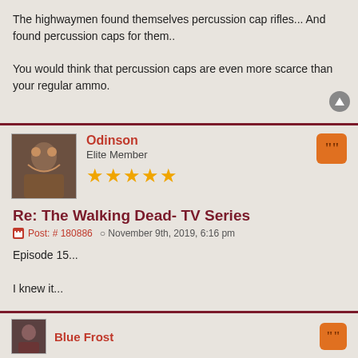The highwaymen found themselves percussion cap rifles... And found percussion caps for them..

You would think that percussion caps are even more scarce than your regular ammo.
Odinson
Elite Member
Re: The Walking Dead- TV Series
Post: # 180886  November 9th, 2019, 6:16 pm
Episode 15...

I knew it...

You know when they suddenly start smooching, it means that either the girl or the guy is gonna get killed.


Same thing happened with Sasha and Abraham...
Blue Frost